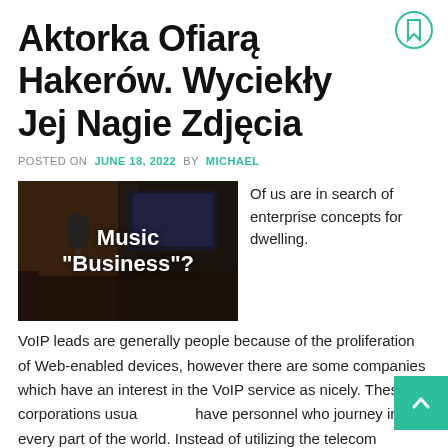Aktorka Ofiarą Hakerów. Wyciekły Jej Nagie Zdjęcia
POSTED ON  JUNE 18, 2022  BY  MICHAEL
[Figure (photo): Dark photo of a music studio/production setup with overlay text reading: Music "Business"?]
Of us are in search of enterprise concepts for dwelling. VoIP leads are generally people because of the proliferation of Web-enabled devices, however there are some companies which have an interest in the VoIP service as nicely. These corporations usua have personnel who journey in every part of the world. Instead of utilizing the telecom supplier for a given nation, they use VoIP as a result of it is more cost-effective and accessible.